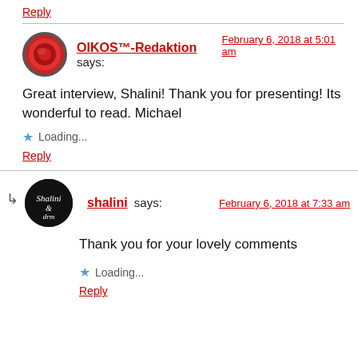Reply
OIKOS™-Redaktion says: February 6, 2018 at 5:01 am
Great interview, Shalini! Thank you for presenting! Its wonderful to read. Michael
Loading...
Reply
shalini says: February 6, 2018 at 7:33 am
Thank you for your lovely comments
Loading...
Reply